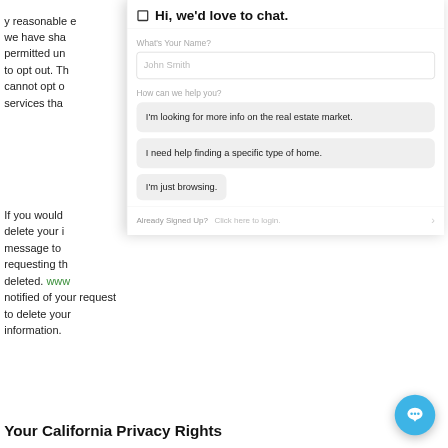reasonable e... we have sha... permitted un... to opt out. Th... cannot opt o... services tha...
[Figure (screenshot): Chat widget overlay showing a name input field, topic selection options ('I'm looking for more info on the real estate market.', 'I need help finding a specific type of home.', 'I'm just browsing.'), and a footer with 'Already Signed Up? Click here to login.']
If you would delete your i... message to ... requesting th... deleted. www... notified of your request to delete your information.
Your California Privacy Rights